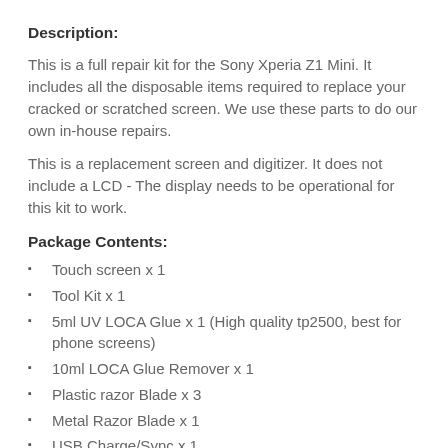Description:
This is a full repair kit for the Sony Xperia Z1 Mini. It includes all the disposable items required to replace your cracked or scratched screen. We use these parts to do our own in-house repairs.
This is a replacement screen and digitizer. It does not include a LCD - The display needs to be operational for this kit to work.
Package Contents:
Touch screen x 1
Tool Kit x 1
5ml UV LOCA Glue x 1 (High quality tp2500, best for phone screens)
10ml LOCA Glue Remover x 1
Plastic razor Blade x 3
Metal Razor Blade x 1
USB Charge/Sync x 1
Polishing Cloths x 2
This repair kit comes with everything you need to replace your